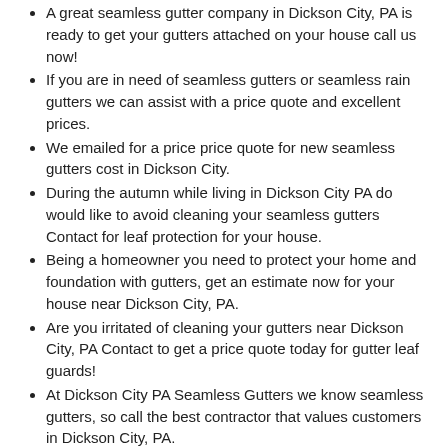A great seamless gutter company in Dickson City, PA is ready to get your gutters attached on your house call us now!
If you are in need of seamless gutters or seamless rain gutters we can assist with a price quote and excellent prices.
We emailed for a price price quote for new seamless gutters cost in Dickson City.
During the autumn while living in Dickson City PA do would like to avoid cleaning your seamless gutters Contact for leaf protection for your house.
Being a homeowner you need to protect your home and foundation with gutters, get an estimate now for your house near Dickson City, PA.
Are you irritated of cleaning your gutters near Dickson City, PA Contact to get a price quote today for gutter leaf guards!
At Dickson City PA Seamless Gutters we know seamless gutters, so call the best contractor that values customers in Dickson City, PA.
Do you need new gutters in the following zip codes: 18519.
For more information on Gutters Click Below
Seamless Rain Gutters Dickson City PA